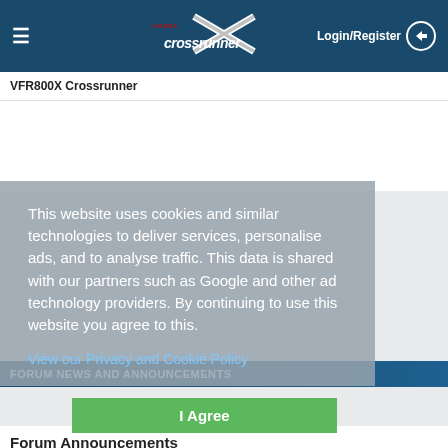VFR800X Crossrunner | Login/Register
VFR800X Crossrunner
This website uses cookies and similar technologies to deliver services, personalise ads, and to analyse traffic. This data is shared with our partners such as Google and other ad technology providers. By continuing to use this website you agree to this.
View our Privacy and Cookie Policy
I Agree
FORUM NEWS AND ANNOUNCEMENTS
Forum Announcements
Announcements from the Forum Administrator
23 Topics   52 Posts